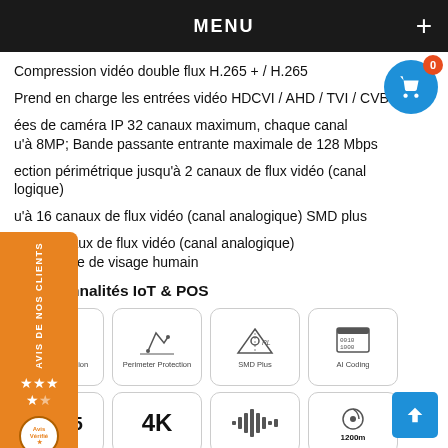MENU
Compression vidéo double flux H.265 + / H.265
Prend en charge les entrées vidéo HDCVI / AHD / TVI / CVBS / IP
ées de caméra IP 32 canaux maximum, chaque canal u'à 8MP; Bande passante entrante maximale de 128 Mbps
ection périmétrique jusqu'à 2 canaux de flux vidéo (canal logique)
u'à 16 canaux de flux vidéo (canal analogique) SMD plus
u'à 2 canaux de flux vidéo (canal analogique) nnaissance de visage humain
Fonctionnalités IoT & POS
[Figure (infographic): Four feature icons: Face Recognition, Perimeter Protection, SMD Plus, AI Coding]
[Figure (infographic): Four partial feature icons row 2: H.265, 4K, audio waveform, 1200m]